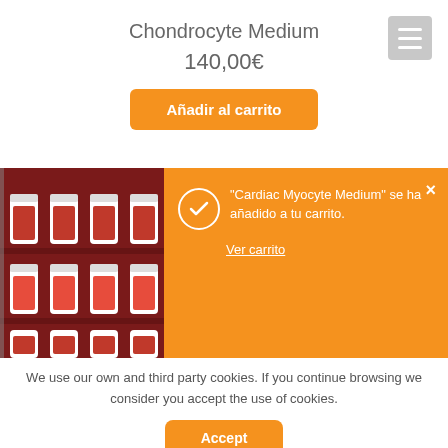Chondrocyte Medium
140,00€
Añadir al carrito
[Figure (photo): Lab shelf with rows of bottles containing red liquid (cell culture media)]
"Cardiac Myocyte Medium" se ha añadido a tu carrito. Ver carrito
We use our own and third party cookies. If you continue browsing we consider you accept the use of cookies.
Accept